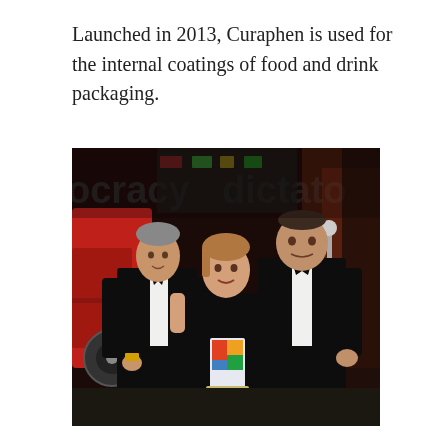Launched in 2013, Curaphen is used for the internal coatings of food and drink packaging.
[Figure (photo): Three people in formal black tie attire posing for a photo at an awards ceremony. A woman in the center is holding a colorful award trophy. The background shows large text reading 'democracy' and 'dictato' in a dimly lit event venue with a red vehicle visible on the left.]